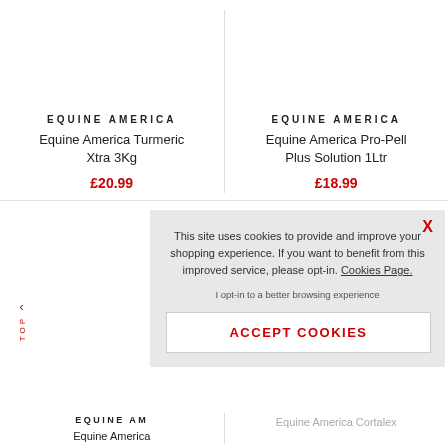EQUINE AMERICA
Equine America Turmeric Xtra 3Kg
£20.99
EQUINE AMERICA
Equine America Pro-Pell Plus Solution 1Ltr
£18.99
This site uses cookies to provide and improve your shopping experience. If you want to benefit from this improved service, please opt-in. Cookies Page.
I opt-in to a better browsing experience
ACCEPT COOKIES
TOP
EQUINE AM
Equine America
Equine America Cortalex